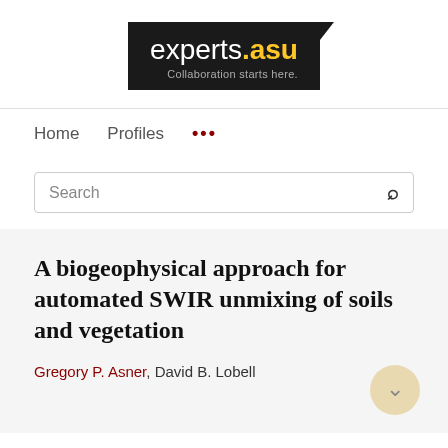[Figure (logo): experts.asu logo with tagline 'Collaboration starts here.' on dark background with gold accent]
Home   Profiles   ...
Search
A biogeophysical approach for automated SWIR unmixing of soils and vegetation
Gregory P. Asner, David B. Lobell